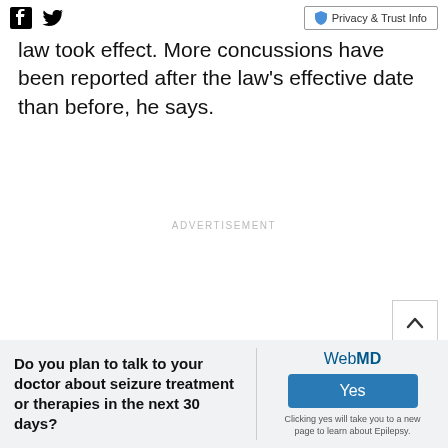Facebook Twitter | Privacy & Trust Info
law took effect. More concussions have been reported after the law's effective date than before, he says.
ADVERTISEMENT
ADVERTISEMENT
Do you plan to talk to your doctor about seizure treatment or therapies in the next 30 days?
WebMD Yes Clicking yes will take you to a new page to learn about Epilepsy.